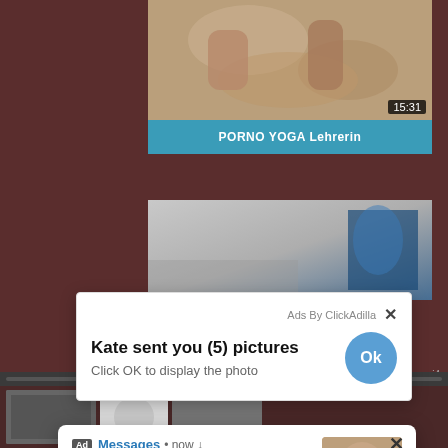[Figure (screenshot): Video thumbnail showing hands massage scene with duration badge 15:31]
PORNO YOGA Lehrerin
[Figure (screenshot): Second video thumbnail partially visible]
Ads By ClickAdilla
Kate sent you (5) pictures
Click OK to display the photo
Ad Messages • now
Hey Cutie ;)
Want to see my Photos?
cj4